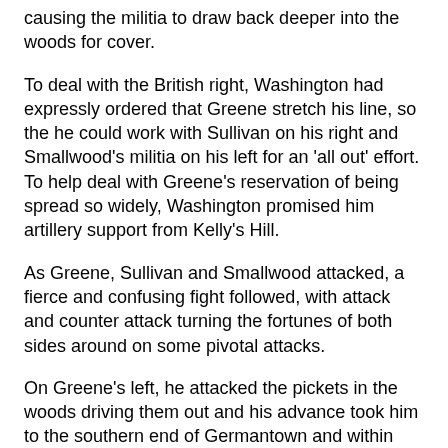causing the militia to draw back deeper into the woods for cover.
To deal with the British right, Washington had expressly ordered that Greene stretch his line, so the he could work with Sullivan on his right and Smallwood's militia on his left for an 'all out' effort. To help deal with Greene's reservation of being spread so widely, Washington promised him artillery support from Kelly's Hill.
As Greene, Sullivan and Smallwood attacked, a fierce and confusing fight followed, with attack and counter attack turning the fortunes of both sides around on some pivotal attacks.
On Greene's left, he attacked the pickets in the woods driving them out and his advance took him to the southern end of Germantown and within striking distance of Howe's Headquarters on the high ground.